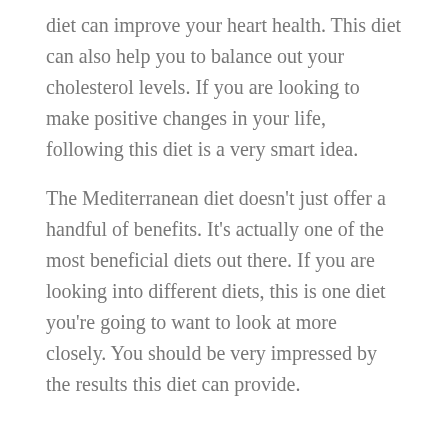diet can improve your heart health. This diet can also help you to balance out your cholesterol levels. If you are looking to make positive changes in your life, following this diet is a very smart idea.
The Mediterranean diet doesn't just offer a handful of benefits. It's actually one of the most beneficial diets out there. If you are looking into different diets, this is one diet you're going to want to look at more closely. You should be very impressed by the results this diet can provide.
BODY ARMOR -What do you need to know?
Leave a Reply